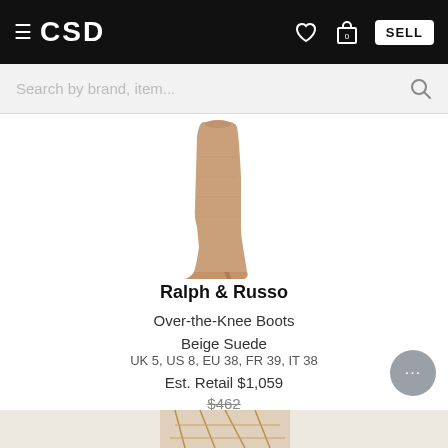≡ CSD   ♡  🛍0  SELL
Search by brand, item...
[Figure (photo): Over-the-knee beige suede high-heel boot on white background]
Ralph & Russo
Over-the-Knee Boots
Beige Suede
UK 5, US 8, EU 38, FR 39, IT 38
Est. Retail $1,059
$462
48% off - $240